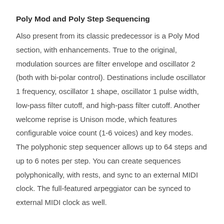Poly Mod and Poly Step Sequencing
Also present from its classic predecessor is a Poly Mod section, with enhancements. True to the original, modulation sources are filter envelope and oscillator 2 (both with bi-polar control). Destinations include oscillator 1 frequency, oscillator 1 shape, oscillator 1 pulse width, low-pass filter cutoff, and high-pass filter cutoff. Another welcome reprise is Unison mode, which features configurable voice count (1-6 voices) and key modes. The polyphonic step sequencer allows up to 64 steps and up to 6 notes per step. You can create sequences polyphonically, with rests, and sync to an external MIDI clock. The full-featured arpeggiator can be synced to external MIDI clock as well.